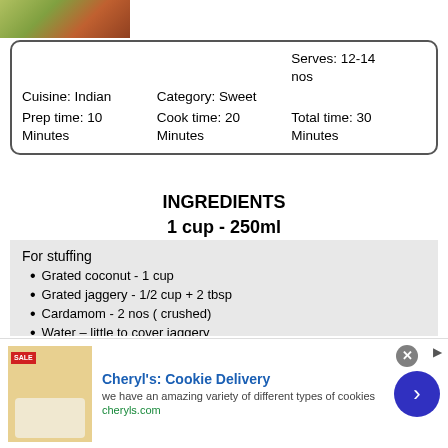[Figure (photo): Photo of modak dish with green decoration]
| Cuisine: Indian | Category: Sweet | Serves: 12-14 nos |
| Prep time: 10 Minutes | Cook time: 20 Minutes | Total time: 30 Minutes |
INGREDIENTS
1 cup - 250ml
For stuffing
Grated coconut - 1 cup
Grated jaggery - 1/2 cup + 2 tbsp
Cardamom - 2 nos ( crushed)
Water – little to cover jaggery
For modak dough
Rice flour – 1 cup ( I used store bought idiyappam flour or kozhukattai flour)
Water – 1.75-2 cups ( as needed)
[Figure (advertisement): Cheryl's Cookie Delivery ad with cookie image]